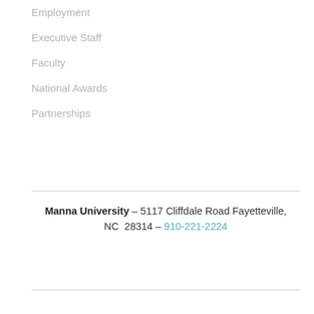Employment
Executive Staff
Faculty
National Awards
Partnerships
Manna University – 5117 Cliffdale Road Fayetteville, NC  28314 – 910-221-2224